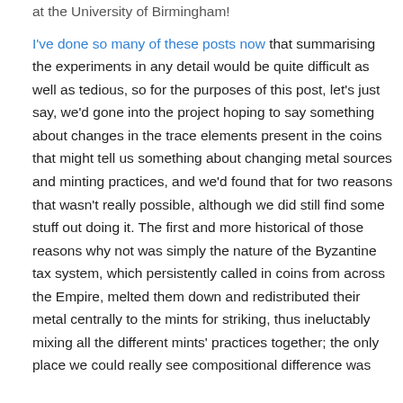at the University of Birmingham!
I've done so many of these posts now that summarising the experiments in any detail would be quite difficult as well as tedious, so for the purposes of this post, let's just say, we'd gone into the project hoping to say something about changes in the trace elements present in the coins that might tell us something about changing metal sources and minting practices, and we'd found that for two reasons that wasn't really possible, although we did still find some stuff out doing it. The first and more historical of those reasons why not was simply the nature of the Byzantine tax system, which persistently called in coins from across the Empire, melted them down and redistributed their metal centrally to the mints for striking, thus ineluctably mixing all the different mints' practices together; the only place we could really see compositional difference was